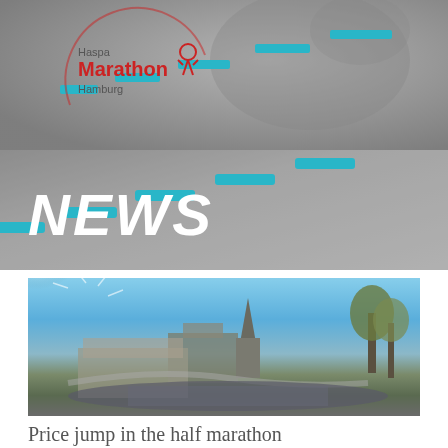[Figure (logo): Haspa Marathon Hamburg logo with red text and runner icon]
NEWS
[Figure (photo): Aerial view of Hamburg marathon runners on a sunny day with church spire and blue sky]
Price jump in the half marathon